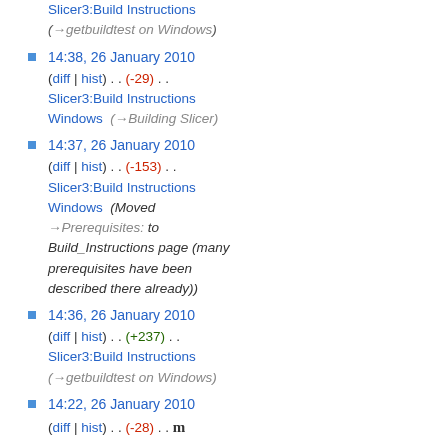Slicer3:Build Instructions (→getbuildtest on Windows)
14:38, 26 January 2010 (diff | hist) . . (-29) . . Slicer3:Build Instructions Windows (→Building Slicer)
14:37, 26 January 2010 (diff | hist) . . (-153) . . Slicer3:Build Instructions Windows (Moved →Prerequisites: to Build_Instructions page (many prerequisites have been described there already))
14:36, 26 January 2010 (diff | hist) . . (+237) . . Slicer3:Build Instructions (→getbuildtest on Windows)
14:22, 26 January 2010 (diff | hist) . . (-28) . . m